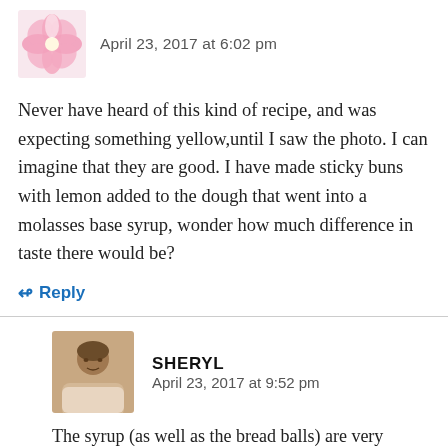[Figure (photo): Avatar photo of a pink flower against white background]
April 23, 2017 at 6:02 pm
Never have heard of this kind of recipe, and was expecting something yellow,until I saw the photo. I can imagine that they are good. I have made sticky buns with lemon added to the dough that went into a molasses base syrup, wonder how much difference in taste there would be?
↳ Reply
[Figure (photo): Avatar photo of a woman with short hair]
SHERYL
April 23, 2017 at 9:52 pm
The syrup (as well as the bread balls) are very similar in texture to sticky buns –so if your recipe calls for molasses and lemon I think that the taste would be similar to the sticky buns you...